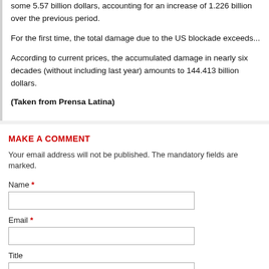some 5.57 billion dollars, accounting for an increase of 1.226 billion over the previous period.
For the first time, the total damage due to the US blockade exceeds...
According to current prices, the accumulated damage in nearly six decades (without including last year) amounts to 144.413 billion dollars.
(Taken from Prensa Latina)
MAKE A COMMENT
Your email address will not be published. The mandatory fields are marked.
Name *
Email *
Title